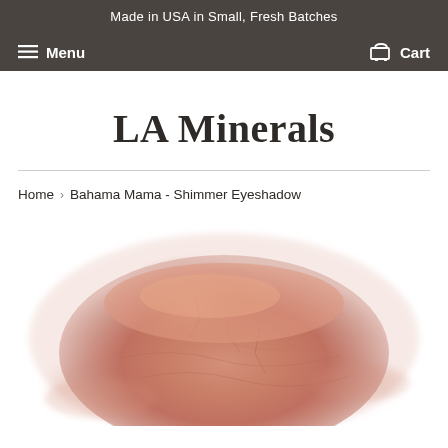Made in USA in Small, Fresh Batches
Menu   Cart
LA Minerals
Home › Bahama Mama - Shimmer Eyeshadow
[Figure (photo): A close-up swatch of a rose-gold/peach shimmer eyeshadow powder, showing a mound of loose mineral powder with a metallic sheen, on a white background.]